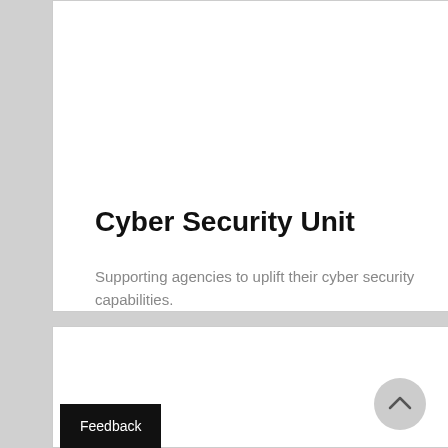Cyber Security Unit
Supporting agencies to uplift their cyber security capabilities.
Feedback